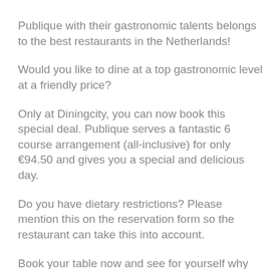Publique with their gastronomic talents belongs to the best restaurants in the Netherlands!
Would you like to dine at a top gastronomic level at a friendly price?
Only at Diningcity, you can now book this special deal. Publique serves a fantastic 6 course arrangement (all-inclusive) for only €94.50 and gives you a special and delicious day.
Do you have dietary restrictions? Please mention this on the reservation form so the restaurant can take this into account.
Book your table now and see for yourself why Publique belongs to the top of the Netherlands.
Please note: The number of tables is limited. Online reservation is mandatory.